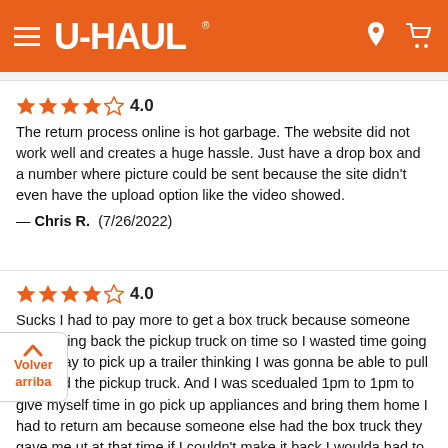[Figure (screenshot): U-Haul website header with hamburger menu, U-HAUL logo, location pin icon, and shopping cart icon on orange background]
4.0
The return process online is hot garbage. The website did not work well and creates a huge hassle. Just have a drop box and a number where picture could be sent because the site didn't even have the upload option like the video showed.
— Chris R.  (7/26/2022)
4.0
Sucks I had to pay more to get a box truck because someone didn't bring back the pickup truck on time so I wasted time going a hr away to pick up a trailer thinking I was gonna be able to pull it behind the pickup truck. And I was scedualed 1pm to 1pm to give myself time in go pick up appliances and bring them home I had to return am because someone else had the box truck they gave me ut at that time if I couldn't make it back I woulda had to rent a even bigger truck and more money when it shouldn't of been needed